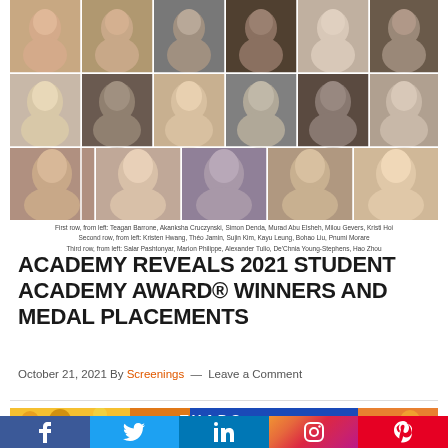[Figure (photo): Grid of 17 headshot photos of student award winners in three rows]
First row, from left: Teagan Barrone, Akanksha Cruczynski, Simon Denda, Murad Abu Elsheh, Milou Gevers, Kristi Hoi
Second row, from left: Kristen Hwang, Théo Jamin, Sujin Kim, Kayu Leung, Bohao Liu, Pnumi Morare
Third row, from left: Salar Pashtonyar, Marion Philippe, Alexander Tulio, De'Chnia Young-Stephens, Hao Zhou
ACADEMY REVEALS 2021 STUDENT ACADEMY AWARD® WINNERS AND MEDAL PLACEMENTS
October 21, 2021 By Screenings — Leave a Comment
[Figure (other): Partial banner/advertisement at bottom of page]
f  t  in  [instagram]  P